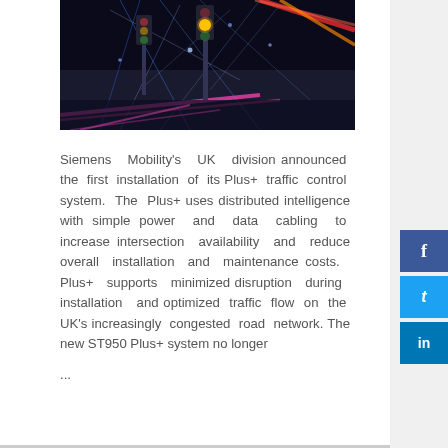[Figure (photo): Night-time intersection with digital traffic light system, illuminated with blue networked light patterns and colorful light trails (pink, orange/yellow, red), representing smart traffic control technology.]
Siemens Mobility's UK division announced the first installation of its Plus+ traffic control system. The Plus+ uses distributed intelligence with simple power and data cabling to increase intersection availability and reduce overall installation and maintenance costs. Plus+ supports minimized disruption during installation and optimized traffic flow on the UK's increasingly congested road network. The new ST950 Plus+ system no longer ...